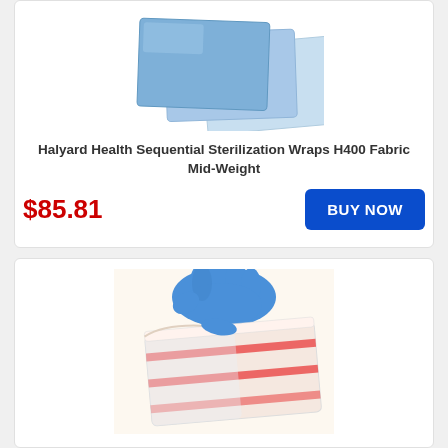[Figure (photo): Blue sterilization wrap sheets, multiple layered sheets fanned out, light blue color]
Halyard Health Sequential Sterilization Wraps H400 Fabric Mid-Weight
$85.81
BUY NOW
[Figure (photo): Gloved hand peeling open a sterilization peel pouch with red indicator stripes]